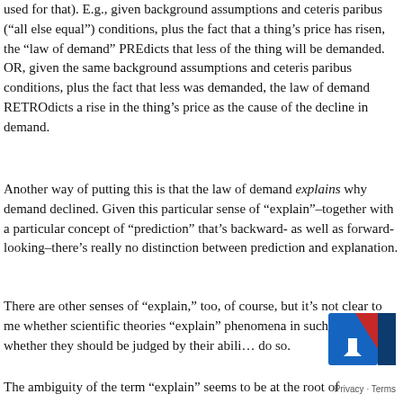used for that). E.g., given background assumptions and ceteris paribus (“all else equal”) conditions, plus the fact that a thing’s price has risen, the “law of demand” PREdicts that less of the thing will be demanded. OR, given the same background assumptions and ceteris paribus conditions, plus the fact that less was demanded, the law of demand RETROdicts a rise in the thing’s price as the cause of the decline in demand.
Another way of putting this is that the law of demand explains why demand declined. Given this particular sense of “explain”–together with a particular concept of “prediction” that’s backward- as well as forward-looking–there’s really no distinction between prediction and explanation.
There are other senses of “explain,” too, of course, but it’s not clear to me whether scientific theories “explain” phenomena in such senses or whether they should be judged by their ability to do so.
The ambiguity of the term “explain” seems to be at the root of